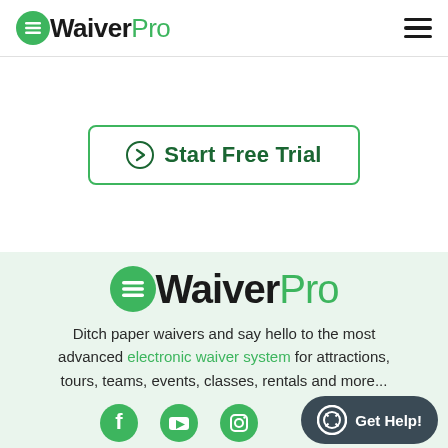WaiverPro
[Figure (screenshot): Start Free Trial button with green border, circle arrow icon, and dark green text]
[Figure (logo): WaiverPro logo - green circle icon with horizontal lines, 'Waiver' in black bold and 'Pro' in green]
Ditch paper waivers and say hello to the most advanced electronic waiver system for attractions, tours, teams, events, classes, rentals and more...
[Figure (other): Social media icons: Facebook, YouTube, Instagram in green circles; Get Help button in dark teal/grey rounded rectangle]